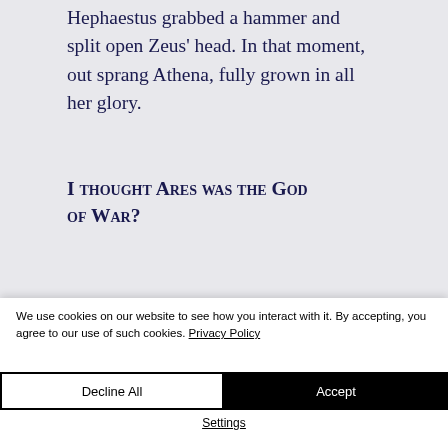Hephaestus grabbed a hammer and split open Zeus' head. In that moment, out sprang Athena, fully grown in all her glory.
I thought Ares was the God of War?
You'll find that sometimes, some
We use cookies on our website to see how you interact with it. By accepting, you agree to our use of such cookies. Privacy Policy
Decline All
Accept
Settings